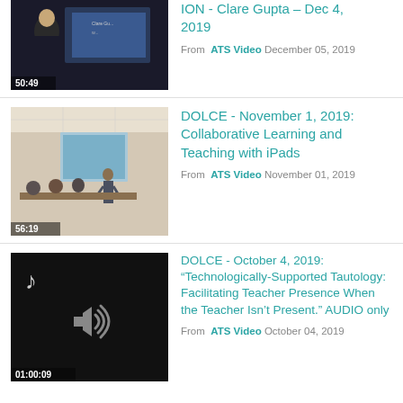[Figure (screenshot): Video thumbnail showing a woman presenting, duration 50:49]
ION - Clare Gupta - Dec 4, 2019
From ATS Video December 05, 2019
[Figure (screenshot): Video thumbnail showing a classroom with projector, duration 56:19]
DOLCE - November 1, 2019: Collaborative Learning and Teaching with iPads
From ATS Video November 01, 2019
[Figure (screenshot): Audio-only thumbnail with music note and speaker icon, duration 01:00:09]
DOLCE - October 4, 2019: “Technologically-Supported Tautology: Facilitating Teacher Presence When the Teacher Isn’t Present.” AUDIO only
From ATS Video October 04, 2019